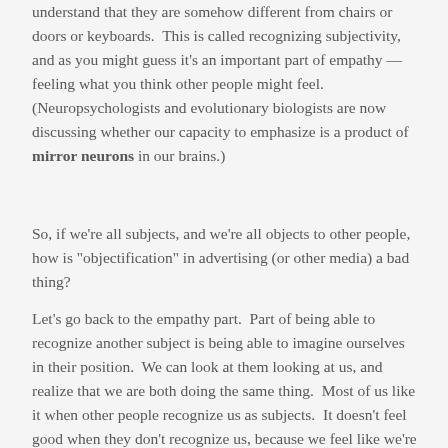understand that they are somehow different from chairs or doors or keyboards. This is called recognizing subjectivity, and as you might guess it's an important part of empathy — feeling what you think other people might feel. (Neuropsychologists and evolutionary biologists are now discussing whether our capacity to emphasize is a product of mirror neurons in our brains.)
So, if we're all subjects, and we're all objects to other people, how is "objectification" in advertising (or other media) a bad thing?
Let's go back to the empathy part. Part of being able to recognize another subject is being able to imagine ourselves in their position. We can look at them looking at us, and realize that we are both doing the same thing. Most of us like it when other people recognize us as subjects. It doesn't feel good when they don't recognize us, because we feel like we're not important, or we don't matter as people. (Think of the last time you were at a